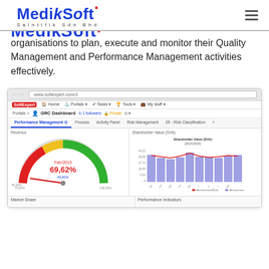[Figure (logo): MedikSoft Saintifik Sdn Bhd logo in blue with red dot]
organisations to plan, execute and monitor their Quality Management and Performance Management activities effectively.
[Figure (screenshot): Screenshot of SoftExpert GRC Dashboard showing Performance Management tab with Revenue gauge at 69,62% and Shareholder Value (SVA) bar/line chart for 2014-2015, plus Market Share and Performance Indicators panels at bottom]